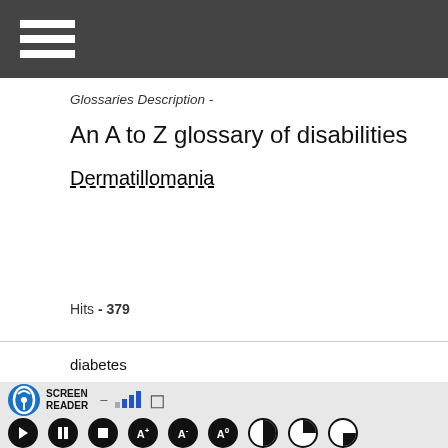Glossaries Description -
An A to Z glossary of disabilities
Dermatillomania
Hits - 379
diabetes
[Figure (screenshot): Screen reader accessibility toolbar with icon, signal bars, and playback/accessibility controls]